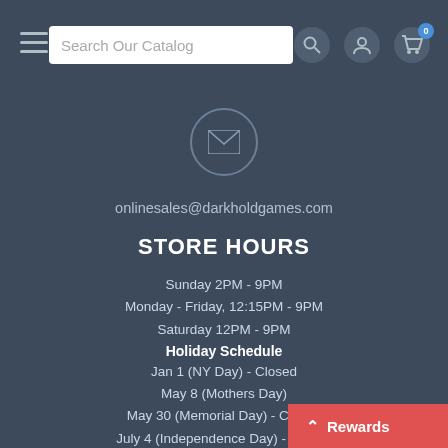Search Our Catalog
[Figure (illustration): Envelope icon inside a circle]
onlinesales@darkholdgames.com
STORE HOURS
Sunday 2PM - 9PM
Monday - Friday, 12:15PM - 9PM
Saturday 12PM - 9PM
Holiday Schedule
Jan 1 (NY Day) - Closed
May 8 (Mothers Day)
May 30 (Memorial Day) - Closed
July 4 (Independence Day) - Closed
Nov 11 (Veterans Day) - TBA
Nov 24 - (Thanksgiving Day)